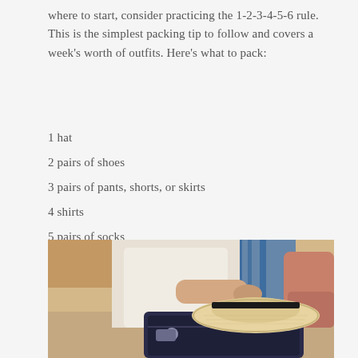where to start, consider practicing the 1-2-3-4-5-6 rule. This is the simplest packing tip to follow and covers a week's worth of outfits. Here's what to pack:
1 hat
2 pairs of shoes
3 pairs of pants, shorts, or skirts
4 shirts
5 pairs of socks
6 sets of underwear
[Figure (photo): A woman in a white dress packing a suitcase with a straw hat on top, sitting on a bed with colorful pillows in the background.]